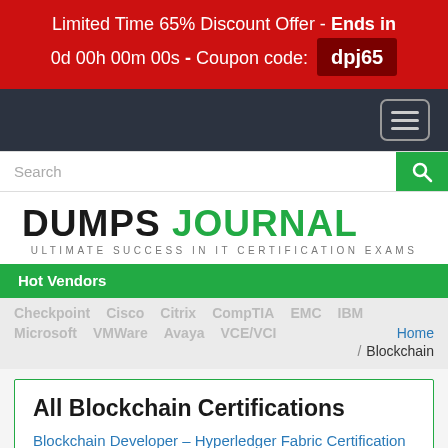Limited Time 65% Discount Offer - Ends in 0d 00h 00m 00s - Coupon code: dpj65
[Figure (screenshot): Dark navigation bar with hamburger menu icon]
[Figure (screenshot): Search bar with green search button]
DUMPS JOURNAL - ULTIMATE SUCCESS IN IT CERTIFICATION EXAMS
Hot Vendors
Checkpoint  Cisco  Citrix  CompTIA  EMC  IBM  Microsoft  VMWare  Avaya  VCE/VCI
Home / Blockchain
All Blockchain Certifications
Blockchain Developer - Hyperledger Fabric Certification